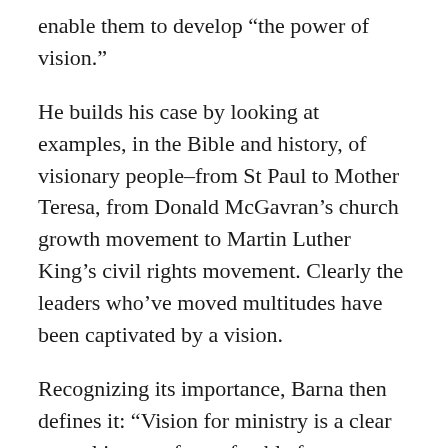enable them to develop “the power of vision.”
He builds his case by looking at examples, in the Bible and history, of visionary people–from St Paul to Mother Teresa, from Donald McGavran’s church growth movement to Martin Luther King’s civil rights movement. Clearly the leaders who’ve moved multitudes have been captivated by a vision.
Recognizing its importance, Barna then defines it: “Vision for ministry is a clear mental image of a preferable future imparted by God to His chosen servants and is based upon an accurate understanding of God, self and circumstances” (p. 28). Fleshing out that vision begins with a